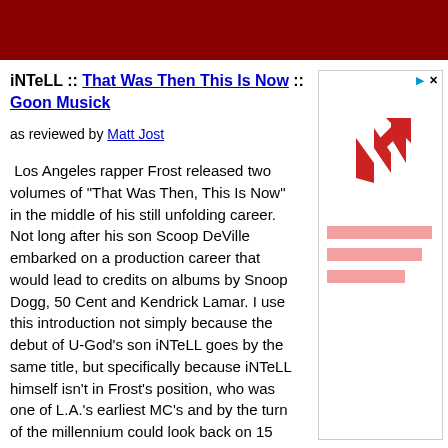[Figure (other): Dark red/maroon horizontal banner header]
iNTeLL :: That Was Then This Is Now :: Goon Musick
as reviewed by Matt Jost
Los Angeles rapper Frost released two volumes of "That Was Then, This Is Now" in the middle of his still unfolding career. Not long after his son Scoop DeVille embarked on a production career that would lead to credits on albums by Snoop Dogg, 50 Cent and Kendrick Lamar. I use this introduction not simply because the debut of U-God's son iNTeLL goes by the same title, but specifically because iNTeLL himself isn't in Frost's position, who was one of L.A.'s earliest MC's and by the turn of the millennium could look back on 15 years of professional rapping.
[Figure (logo): Advertisement box with red N-shaped arrow logo and pink placeholder bars]